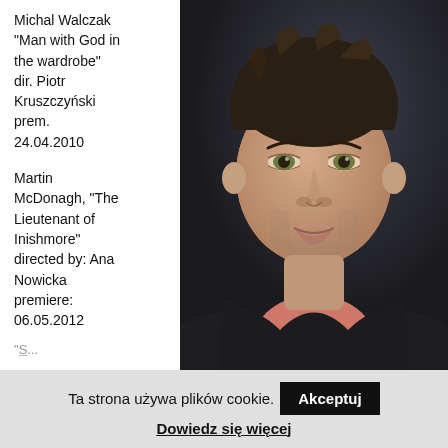Michal Walczak "Man with God in the wardrobe" dir. Piotr Kruszczyński prem. 24.04.2010
Martin McDonagh, "The Lieutenant of Inishmore" directed by: Ana Nowicka premiere: 06.05.2012
[Figure (photo): Headshot portrait of a man with dark tousled hair, green eyes, wearing a salmon/pink shirt under a dark jacket, against a dark background]
Ta strona używa plików cookie.
Akceptuj
Dowiedz się więcej